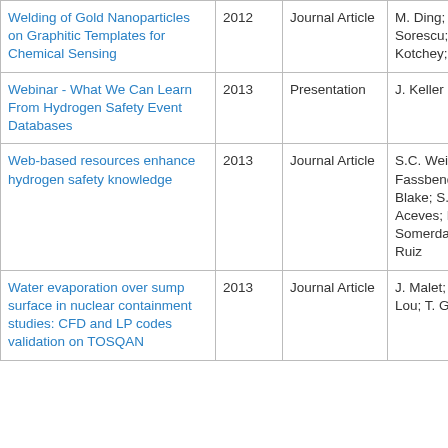| Title | Year | Type | Authors |
| --- | --- | --- | --- |
| Welding of Gold Nanoparticles on Graphitic Templates for Chemical Sensing | 2012 | Journal Article | M. Ding; D.C. Sorescu; G.P. Kotchey; A. Star |
| Webinar - What We Can Learn From Hydrogen Safety Event Databases | 2013 | Presentation | J. Keller |
| Web-based resources enhance hydrogen safety knowledge | 2013 | Journal Article | S.C. Weiner; L.L. Fassbender; C. Blake; S.M. Aceves; B.P. Somerday; A. Ruiz |
| Water evaporation over sump surface in nuclear containment studies: CFD and LP codes validation on TOSQAN | 2013 | Journal Article | J. Malet; Ddu Lou; T. Gelain |